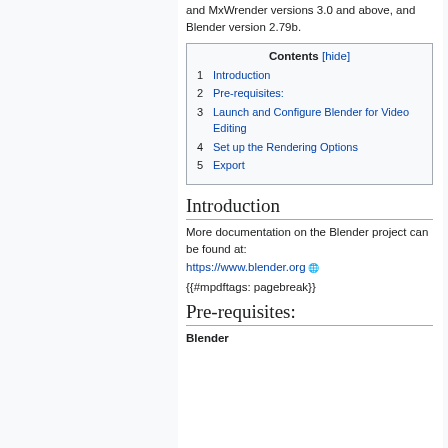and MxWrender versions 3.0 and above, and Blender version 2.79b.
| 1 | Introduction |
| 2 | Pre-requisites: |
| 3 | Launch and Configure Blender for Video Editing |
| 4 | Set up the Rendering Options |
| 5 | Export |
Introduction
More documentation on the Blender project can be found at: https://www.blender.org
{{#mpdftags: pagebreak}}
Pre-requisites:
Blender